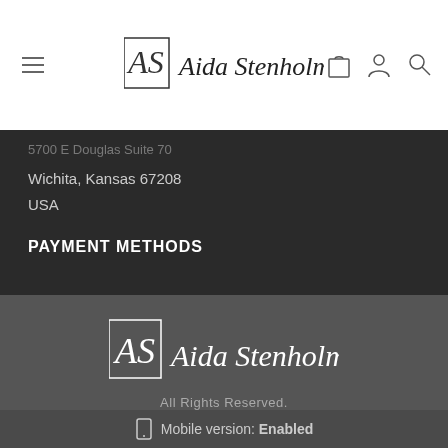[Figure (logo): Aida Stenholm brand logo with stylized AS monogram and script wordmark, shown in header navigation bar]
5700 E Douglas Suite 70
Wichita, Kansas 67208
USA
PAYMENT METHODS
[Figure (logo): Aida Stenholm brand logo centered in footer, white version on dark gray background]
All Rights Reserved.
Mobile version: Enabled